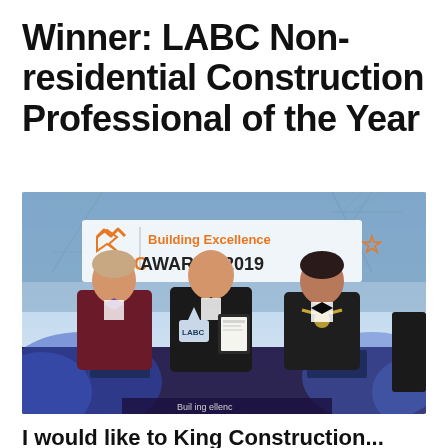Winner: LABC Non-residential Construction Professional of the Year
[Figure (photo): Three men in formal attire standing on a stage at the LABC Building Excellence Awards 2019. The man on the left wears a burgundy jacket with a purple bow tie, the man in the center wears a black tuxedo and holds an LABC award trophy, and the man on the right wears a black suit with a ceremonial chain/medallion and holds an award certificate. A banner reading 'LABC Building Excellence Awards 2019' with an orange star and logo is visible in the background.]
I would like to King Construction...